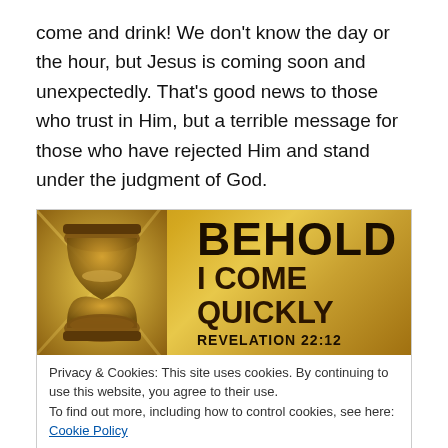come and drink! We don't know the day or the hour, but Jesus is coming soon and unexpectedly. That's good news to those who trust in Him, but a terrible message for those who have rejected Him and stand under the judgment of God.
[Figure (illustration): Golden/amber toned banner image with hourglass on the left and bold text reading 'BEHOLD I COME QUICKLY REVELATION 22:12']
Privacy & Cookies: This site uses cookies. By continuing to use this website, you agree to their use.
To find out more, including how to control cookies, see here: Cookie Policy
Close and accept
carousing, drunkenness and the anxieties of life, and that